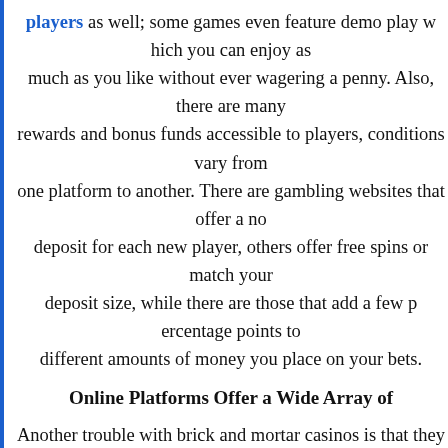players as well; some games even feature demo play which you can enjoy as much as you like without ever wagering a penny. Also, there are many rewards and bonus funds accessible to players, conditions vary from one platform to another. There are gambling websites that offer a no deposit for each new player, others offer free spins or match your deposit size, while there are those that add a few percentage points to different amounts of money you place on your bets.
Online Platforms Offer a Wide Array of Games
Another trouble with brick and mortar casinos is that they are limited by space which makes the versatility of gaming options restricted to the size of the building. The online environment is much spacious, giving websites the ability to host hundreds of different games of luck. Some online casinos specialize in specific games like Poker, Blackjack, or Slots and give visitors access to a range of variations to their favourite games.
The equation becomes simpler even as we take into consideration the page design that allows seamless user experience on all sorts of devices. Responsive page design means the website can be accessed from anywhere which means betting online is...